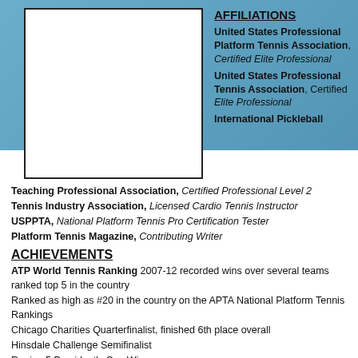[Figure (photo): Empty white photo placeholder box with black border]
AFFILIATIONS
United States Professional Platform Tennis Association, Certified Elite Professional United States Professional Tennis Association, Certified Elite Professional International Pickleball Teaching Professional Association, Certified Professional Level 2 Tennis Industry Association, Licensed Cardio Tennis Instructor USPPTA, National Platform Tennis Pro Certification Tester Platform Tennis Magazine, Contributing Writer
ACHIEVEMENTS
ATP World Tennis Ranking 2007-12 recorded wins over several teams ranked top 5 in the country
Ranked as high as #20 in the country on the APTA National Platform Tennis Rankings
Chicago Charities Quarterfinalist, finished 6th place overall
Hinsdale Challenge Semifinalist
Region 5 President's Cup Winner